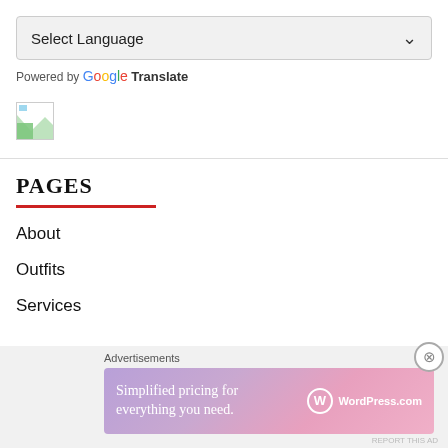Select Language
Powered by Google Translate
[Figure (other): Broken image placeholder icon (small, with green/image fragment)]
PAGES
About
Outfits
Services
Advertisements
[Figure (other): WordPress.com advertisement banner: 'Simplified pricing for everything you need.' with WordPress.com logo on gradient purple-pink background]